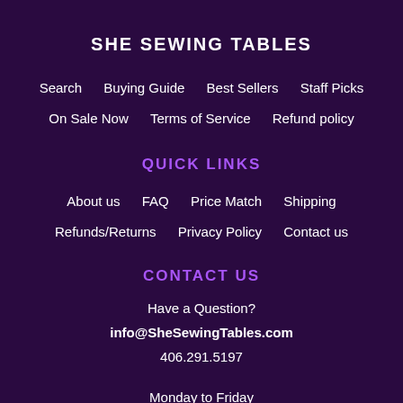SHE SEWING TABLES
Search     Buying Guide     Best Sellers     Staff Picks
On Sale Now     Terms of Service     Refund policy
QUICK LINKS
About us     FAQ     Price Match     Shipping
Refunds/Returns     Privacy Policy     Contact us
CONTACT US
Have a Question?
info@SheSewingTables.com
406.291.5197
Monday to Friday